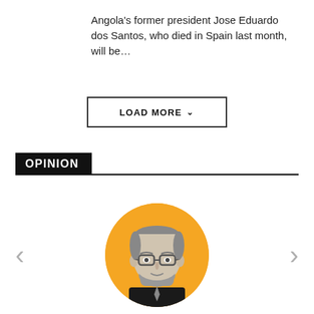Angola's former president Jose Eduardo dos Santos, who died in Spain last month, will be...
LOAD MORE ›
OPINION
[Figure (illustration): Circular author avatar of Keith Morrison with orange background, grayscale portrait illustration of a man with glasses and beard]
Keith Morrison
83 Posts